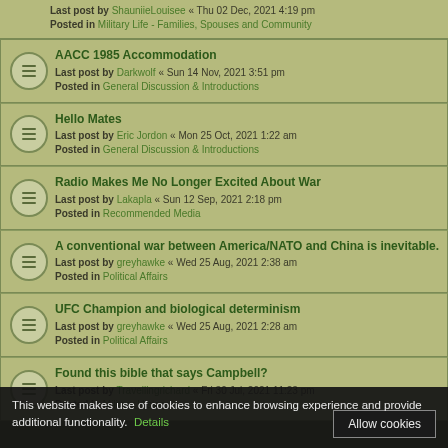Last post by ShauniieLouisee « Thu 02 Dec, 2021 4:19 pm
Posted in Military Life - Families, Spouses and Community
AACC 1985 Accommodation
Last post by Darkwolf « Sun 14 Nov, 2021 3:51 pm
Posted in General Discussion & Introductions
Hello Mates
Last post by Eric Jordon « Mon 25 Oct, 2021 1:22 am
Posted in General Discussion & Introductions
Radio Makes Me No Longer Excited About War
Last post by Lakapla « Sun 12 Sep, 2021 2:18 pm
Posted in Recommended Media
A conventional war between America/NATO and China is inevitable.
Last post by greyhawke « Wed 25 Aug, 2021 2:38 am
Posted in Political Affairs
UFC Champion and biological determinism
Last post by greyhawke « Wed 25 Aug, 2021 2:28 am
Posted in Political Affairs
Found this bible that says Campbell?
Last post by Travellingrichard « Fri 30 Jul, 2021 11:23 pm
Posted in Military History
This website makes use of cookies to enhance browsing experience and provide additional functionality. Details
Allow cookies